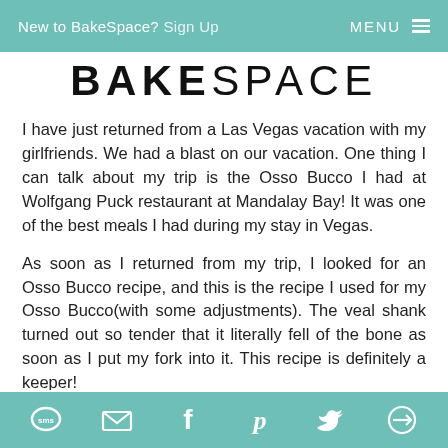New to BakeSpace? Sign Up   MENU
BAKESPACE
I have just returned from a Las Vegas vacation with my girlfriends. We had a blast on our vacation. One thing I can talk about my trip is the Osso Bucco I had at Wolfgang Puck restaurant at Mandalay Bay! It was one of the best meals I had during my stay in Vegas.
As soon as I returned from my trip, I looked for an Osso Bucco recipe, and this is the recipe I used for my Osso Bucco(with some adjustments). The veal shank turned out so tender that it literally fell of the bone as soon as I put my fork into it. This recipe is definitely a keeper!
SMS  Email  Facebook  Pinterest  Twitter  Other